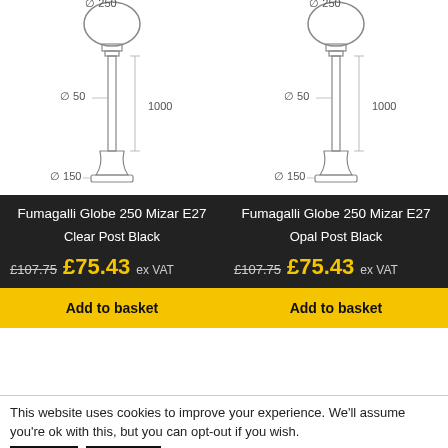[Figure (engineering-diagram): Technical line drawing of a globe post lamp (Fumagalli Globe 250 Mizar E27, Clear Post Black) with dimension annotations: Ø250 at top globe, 1000 height, Ø50 pole diameter, Ø150 base diameter.]
Fumagalli Globe 250 Mizar E27
Clear Post Black
£107.75  £75.43 ex VAT
Add to basket
[Figure (engineering-diagram): Technical line drawing of a globe post lamp (Fumagalli Globe 250 Mizar E27, Opal Post Black) with dimension annotations: Ø250 at top globe, 1000 height, Ø50 pole diameter, Ø150 base diameter.]
Fumagalli Globe 250 Mizar E27
Opal Post Black
£107.75  £75.43 ex VAT
Add to basket
This website uses cookies to improve your experience. We'll assume you're ok with this, but you can opt-out if you wish.
Accept
Settings
Read More